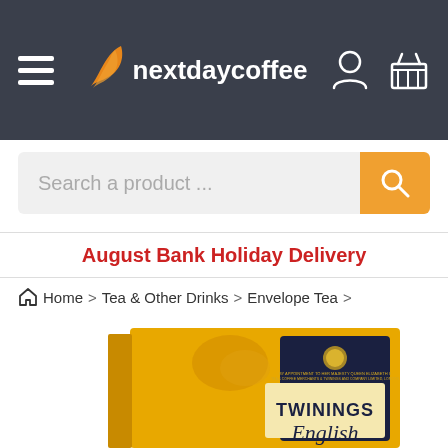nextdaycoffee navigation bar with hamburger menu, logo, account icon, and cart icon
Search a product ...
August Bank Holiday Delivery
Home > Tea & Other Drinks > Envelope Tea >
[Figure (photo): Twinings English Breakfast Tea box in yellow and dark navy packaging, partially cropped at the bottom, showing the Twinings logo and 'English' text on the front.]